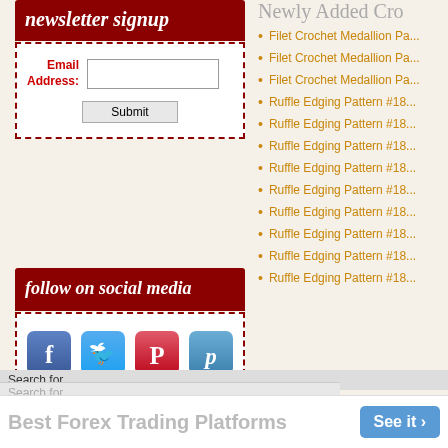newsletter signup
[Figure (screenshot): Newsletter signup form with Email Address label, input field, and Submit button]
[Figure (screenshot): Follow on social media box with Facebook, Twitter, Pinterest, and Paperli icons]
Newly Added Cro...
Filet Crochet Medallion Pa...
Filet Crochet Medallion Pa...
Filet Crochet Medallion Pa...
Ruffle Edging Pattern #18...
Ruffle Edging Pattern #18...
Ruffle Edging Pattern #18...
Ruffle Edging Pattern #18...
Ruffle Edging Pattern #18...
Ruffle Edging Pattern #18...
Ruffle Edging Pattern #18...
Ruffle Edging Pattern #18...
Ruffle Edging Pattern #18...
Search for
Search for
[Figure (screenshot): Advertisement: Best Forex Trading Platforms - See it button]